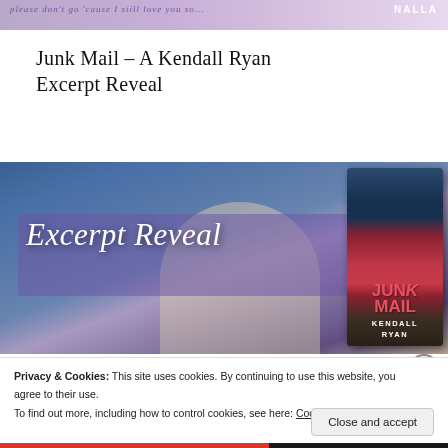[Figure (photo): Top strip showing partial book cover with purple/lavender tones and 'NALLA' text visible at top right]
Junk Mail – A Kendall Ryan Excerpt Reveal
[Figure (photo): Excerpt Reveal promotional banner featuring a blurred man in a teal blazer, purple overlay with cursive 'Excerpt Reveal' text, and a book cover for 'Junk Mail' by Kendall Ryan on the right]
Privacy & Cookies: This site uses cookies. By continuing to use this website, you agree to their use.
To find out more, including how to control cookies, see here: Cookie Policy
Close and accept